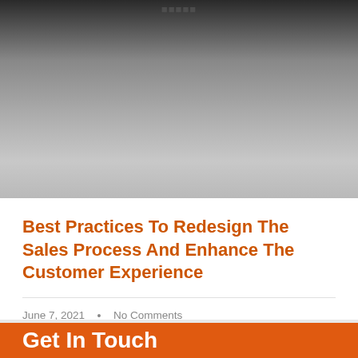[Figure (photo): Dark gradient hero image with a faint text/logo at the top center, transitioning from near-black at the top to light gray at the bottom.]
Best Practices To Redesign The Sales Process And Enhance The Customer Experience
June 7, 2021  •  No Comments
Get In Touch